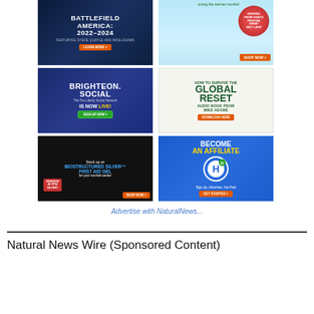[Figure (illustration): Battlefield America 2022-2024 advertisement featuring Steve Quayle and Mike Adams with dark blue background]
[Figure (illustration): Product advertisement - derived from Utah's Pristine Great Salt Lake, Shop Now button]
[Figure (illustration): Brighteon.Social - The Pro-Liberty Social Network IS NOW LIVE! Sign Up Now]
[Figure (illustration): How to Survive the Global Reset - Audio Book from Mike Adams - Download Here]
[Figure (illustration): Stock up on Biostructured Silver First Aid Gel for your survival cache - Shop Now]
[Figure (illustration): Become an Affiliate - Sign Up, Advertise, Get Paid - Get Started]
Advertise with NaturalNews...
Natural News Wire (Sponsored Content)